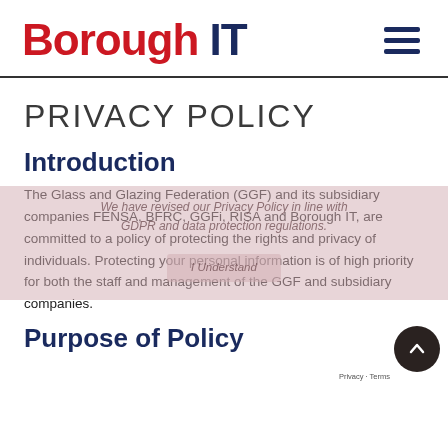Borough IT
PRIVACY POLICY
Introduction
The Glass and Glazing Federation (GGF) and its subsidiary companies FENSA, BFRC, GGFi, RISA and Borough IT, are committed to a policy of protecting the rights and privacy of individuals. Protecting your personal information is of high priority for both the staff and management of the GGF and subsidiary companies.
Purpose of Policy